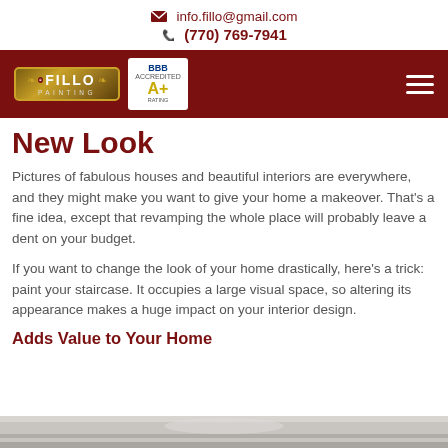info.fillo@gmail.com
(770) 769-7941
[Figure (logo): Fillo Painting logo with golden ornate border and BBB A+ rating badge on dark red navigation bar with hamburger menu icon]
New Look
Pictures of fabulous houses and beautiful interiors are everywhere, and they might make you want to give your home a makeover. That’s a fine idea, except that revamping the whole place will probably leave a dent on your budget.
If you want to change the look of your home drastically, here’s a trick: paint your staircase. It occupies a large visual space, so altering its appearance makes a huge impact on your interior design.
Adds Value to Your Home
[Figure (photo): Bottom strip of a staircase interior photo]